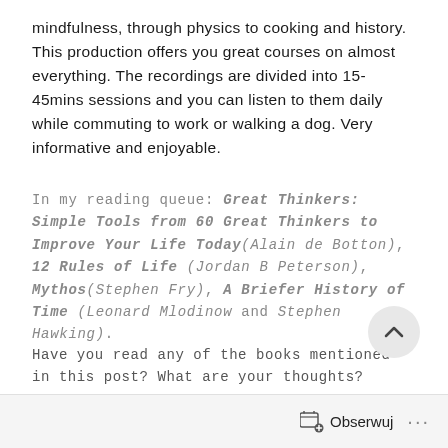mindfulness, through physics to cooking and history. This production offers you great courses on almost everything. The recordings are divided into 15-45mins sessions and you can listen to them daily while commuting to work or walking a dog. Very informative and enjoyable.
In my reading queue: Great Thinkers: Simple Tools from 60 Great Thinkers to Improve Your Life Today(Alain de Botton), 12 Rules of Life (Jordan B Peterson), Mythos(Stephen Fry), A Briefer History of Time (Leonard Mlodinow and Stephen Hawking).
Have you read any of the books mentioned in this post? What are your thoughts?
Do you have any recommendations for me? Comment